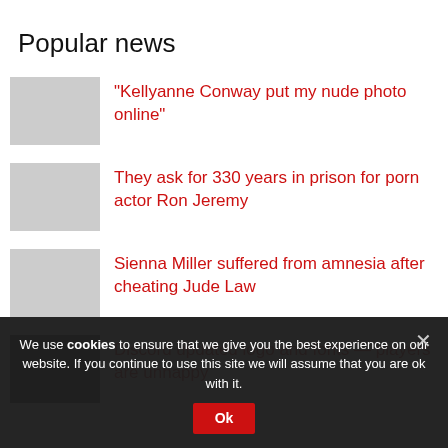Popular news
“Kellyanne Conway put my nude photo online”
They ask for 330 years in prison for porn actor Ron Jeremy
Sienna Miller suffered from amnesia after cheating Jude Law
Discord updated logo and fonts — players are unhappy
We use cookies to ensure that we give you the best experience on our website. If you continue to use this site we will assume that you are ok with it.